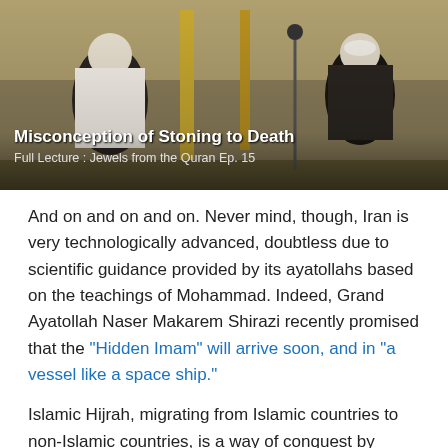[Figure (screenshot): Video thumbnail showing two robed figures at a podium/lectern. White overlay text reads 'Misconception of Stoning to Death' and 'Full Lecture : Jewels from the Quran Ep. 15']
And on and on and on. Never mind, though, Iran is very technologically advanced, doubtless due to scientific guidance provided by its ayatollahs based on the teachings of Mohammad. Indeed, Grand Ayatollah Naser Makarem Shirazi recently promised that the “Hidden Imam” will arrive soon, and in “a vessel like a space ship.”
Islamic Hijrah, migrating from Islamic countries to non-Islamic countries, is a way of conquest by political Islam — by Islamists. With it, comes Sharia law. If you haven’t the time or inclination to watch any of the other videos, please watch this one. Yes, it’s thirty minutes long, but well is